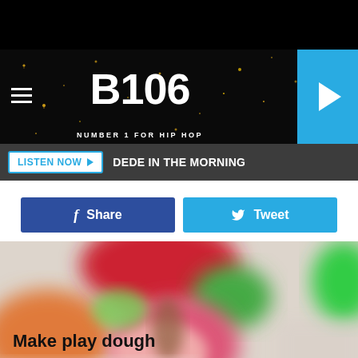[Figure (screenshot): B106 radio station website header with logo, hamburger menu, and play button on cyan background]
LISTEN NOW ▶  DEDE IN THE MORNING
[Figure (screenshot): Social share buttons: Facebook Share (dark blue) and Tweet (cyan/light blue)]
[Figure (photo): Blurry colorful photo of play dough in various colors — orange, red, green, pink — on white surface, shot from above]
Ilina Yuliia // Shutterstock
Make play dough